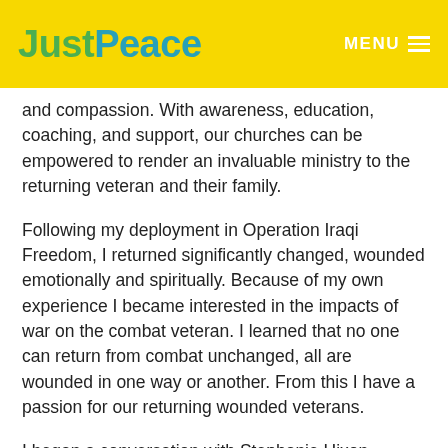JustPeace  MENU
and compassion. With awareness, education, coaching, and support, our churches can be empowered to render an invaluable ministry to the returning veteran and their family.
Following my deployment in Operation Iraqi Freedom, I returned significantly changed, wounded emotionally and spiritually. Because of my own experience I became interested in the impacts of war on the combat veteran. I learned that no one can return from combat unchanged, all are wounded in one way or another. From this I have a passion for our returning wounded veterans.
I began a conversation with Stephanie Hixon, Executive Director of JustPeace, on how the church can journey